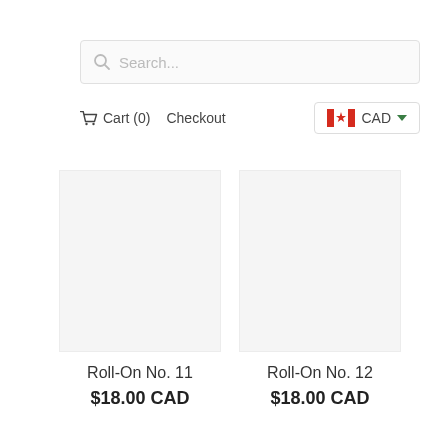[Figure (screenshot): Search input bar with magnifying glass icon and placeholder text 'Search...']
Cart (0)   Checkout   CAD
Roll-On No. 11
$18.00 CAD
Roll-On No. 12
$18.00 CAD